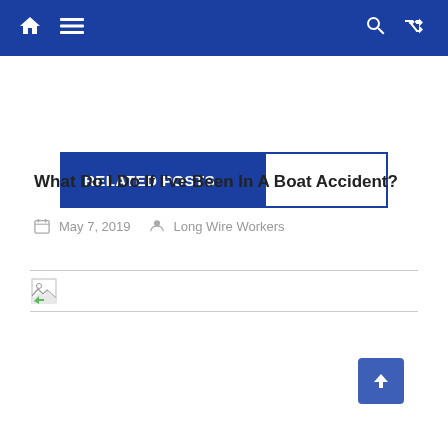Navigation bar with home, menu, search, and shuffle icons
RELATED POSTS
What Do I Do If I've Been In A Boat Accident?
May 7, 2019  Long Wire Workers
[Figure (other): Broken image placeholder with small thumbnail icon]
Back to top button